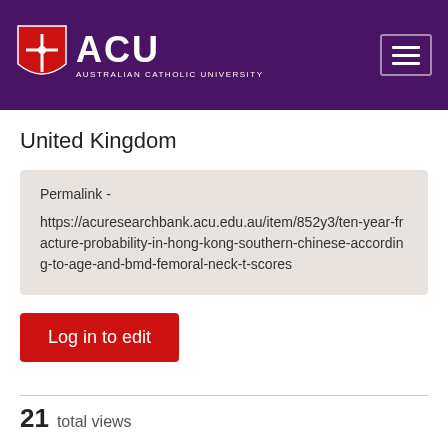ACU Australian Catholic University
United Kingdom
Permalink - https://acuresearchbank.acu.edu.au/item/852y3/ten-year-fracture-probability-in-hong-kong-southern-chinese-according-to-age-and-bmd-femoral-neck-t-scores
Log in to edit
21  total views